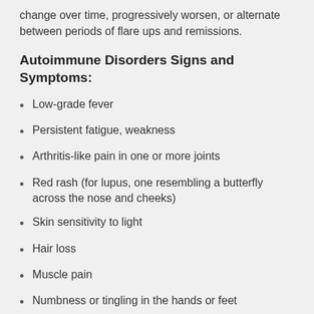change over time, progressively worsen, or alternate between periods of flare ups and remissions.
Autoimmune Disorders Signs and Symptoms:
Low-grade fever
Persistent fatigue, weakness
Arthritis-like pain in one or more joints
Red rash (for lupus, one resembling a butterfly across the nose and cheeks)
Skin sensitivity to light
Hair loss
Muscle pain
Numbness or tingling in the hands or feet
Inflammation and damage to organs and